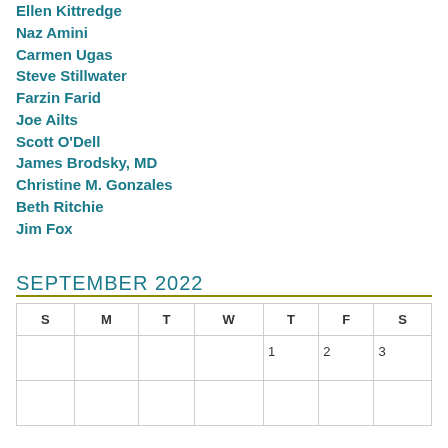Ellen Kittredge
Naz Amini
Carmen Ugas
Steve Stillwater
Farzin Farid
Joe Ailts
Scott O'Dell
James Brodsky, MD
Christine M. Gonzales
Beth Ritchie
Jim Fox
SEPTEMBER 2022
| S | M | T | W | T | F | S |
| --- | --- | --- | --- | --- | --- | --- |
|  |  |  |  | 1 | 2 | 3 |
|  |  |  |  |  |  |  |